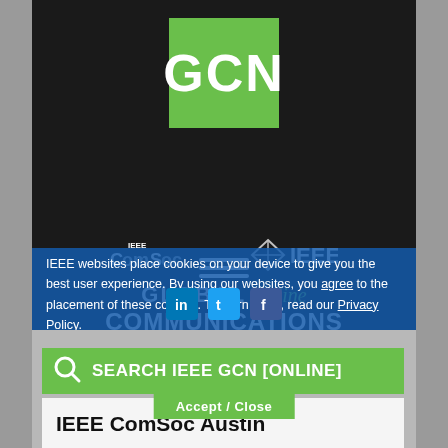[Figure (logo): GCN logo — green square with white bold text 'GCN']
GLOBAL online COMMUNICATIONS NEWSLETTER
[Figure (logo): IEEE ComSoc and IEEE logos side by side]
IEEE websites place cookies on your device to give you the best user experience. By using our websites, you agree to the placement of these cookies. To learn more, read our Privacy Policy.
[Figure (infographic): Social media icons: LinkedIn, Twitter, Facebook]
SEARCH IEEE GCN [ONLINE]
IEEE ComSoc Austin